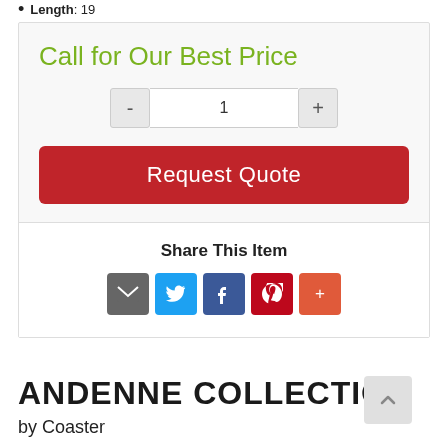Length: 19
Call for Our Best Price
Request Quote
Share This Item
[Figure (infographic): Social share icons: email (grey), twitter (blue), facebook (dark blue), pinterest (red), more (orange-red)]
ANDENNE COLLECTION
by Coaster